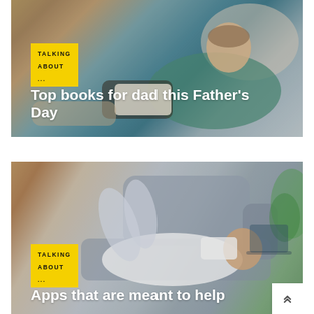[Figure (photo): Man in green sweater reclining on a sofa reading a book, photographed from the side. Warm living room setting.]
TALKING ABOUT...
Top books for dad this Father's Day
[Figure (photo): Young child lying on a grey sofa looking at a smartphone. Green plant visible in background on the right.]
TALKING ABOUT...
Apps that are meant to help